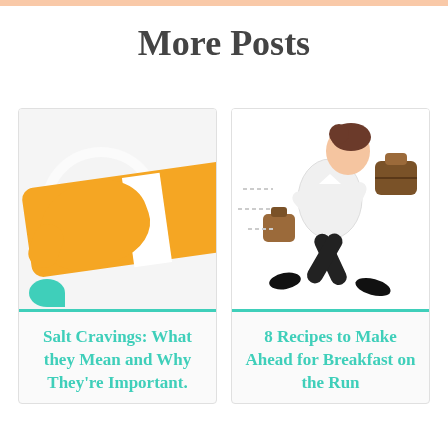More Posts
[Figure (illustration): Illustration of an orange-sleeved hand/wrist with a circular element and a teal blob at the bottom left, on a light grey background.]
Salt Cravings: What they Mean and Why They're Important.
[Figure (illustration): 3D cartoon illustration of a businessman in a white shirt and black pants running urgently, holding a brown bag and a briefcase/bag over his shoulder.]
8 Recipes to Make Ahead for Breakfast on the Run